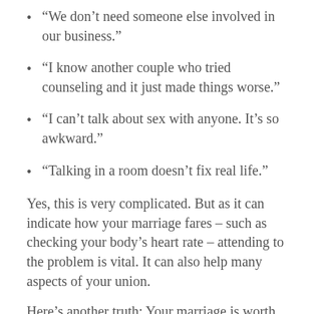“We don’t need someone else involved in our business.”
“I know another couple who tried counseling and it just made things worse.”
“I can’t talk about sex with anyone. It’s so awkward.”
“Talking in a room doesn’t fix real life.”
Yes, this is very complicated. But as it can indicate how your marriage fares – such as checking your body’s heart rate – attending to the problem is vital. It can also help many aspects of your union.
Here’s another truth: Your marriage is worth this complexity and hard work.
Consider marriage therapy when you realize there are sexual concerns that aren’t getting any better